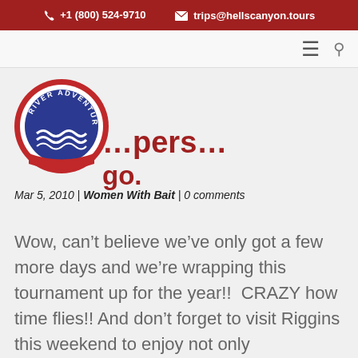+1 (800) 524-9710   trips@hellscanyon.tours
[Figure (logo): River Adventures circular logo with blue circle, red border, wave design, and text RIVER ADVENTURES]
…pers…
Mar 5, 2010 | Women With Bait | 0 comments
Wow, can't believe we've only got a few more days and we're wrapping this tournament up for the year!!  CRAZY how time flies!!  And don't forget to visit Riggins this weekend to enjoy not only